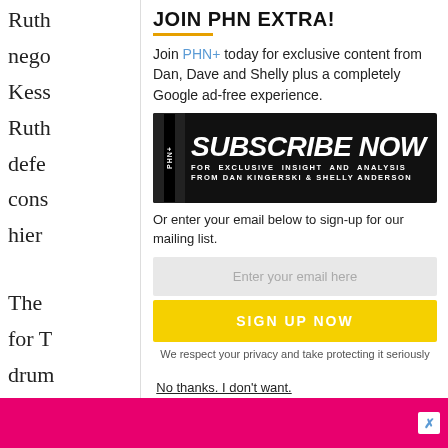Ruth nego Kess Ruth defe cons hier The for T drum the w pend
JOIN PHN EXTRA!
Join PHN+ today for exclusive content from Dan, Dave and Shelly plus a completely Google ad-free experience.
[Figure (illustration): PHN+ Subscribe Now banner - black background with large white italic bold text 'SUBSCRIBE NOW' and subtext 'FOR EXCLUSIVE INSIGHT AND ANALYSIS FROM DAN KINGERSKI & SHELLY ANDERSON']
Or enter your email below to sign-up for our mailing list.
Enter your email here
SIGN UP NOW
We respect your privacy and take protecting it seriously
No thanks. I don't want.
[Figure (other): Pink/magenta advertisement bar at bottom with close X button]